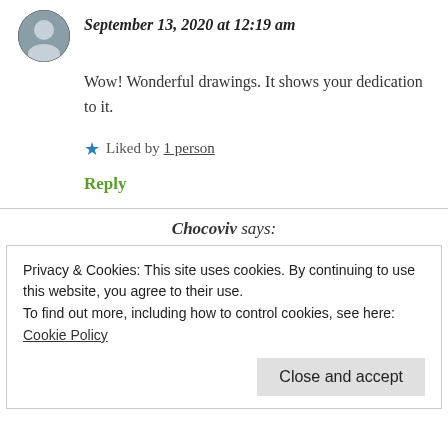September 13, 2020 at 12:19 am
Wow! Wonderful drawings. It shows your dedication to it.
★ Liked by 1 person
Reply
Chocoviv says:
Privacy & Cookies: This site uses cookies. By continuing to use this website, you agree to their use.
To find out more, including how to control cookies, see here: Cookie Policy
Close and accept